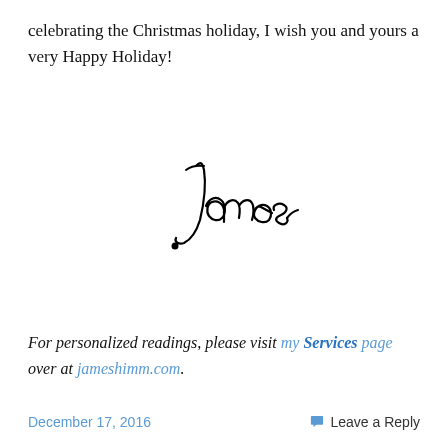celebrating the Christmas holiday, I wish you and yours a very Happy Holiday!
[Figure (illustration): Handwritten cursive signature reading 'James']
For personalized readings, please visit my Services page over at jameshimm.com.
December 17, 2016    Leave a Reply